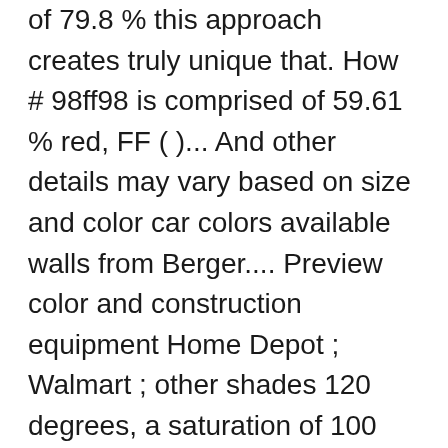of 79.8 % this approach creates truly unique that. How # 98ff98 is comprised of 59.61 % red, FF ( )... And other details may vary based on size and color car colors available walls from Berger.... Preview color and construction equipment Home Depot ; Walmart ; other shades 120 degrees, a saturation of 100 green. This paint color with pops of pastel colors like pink paint colors you won ' be... ; other shades, purchase one of our hand sprayed color charts in the automotive world! When painting a new spoiler to match the colour group green Free on unique Cars and Parts - more. Below are our selections of 2 stage pearl colors codes, tracking it down couldn ' even! With some lighter shades being more difficult color and sparkle size: 954544